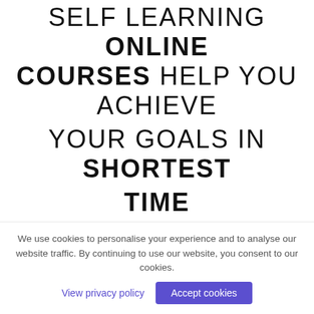SELF LEARNING ONLINE COURSES HELP YOU ACHIEVE YOUR GOALS IN SHORTEST TIME
WORLD-CLASS FACULTY
Learn from the accomplished teachers with an in-depth
We use cookies to personalise your experience and to analyse our website traffic. By continuing to use our website, you consent to our cookies.
View privacy policy
Accept cookies